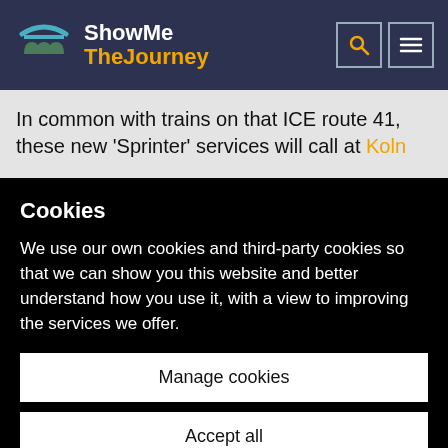ShowMe TheJourney
In common with trains on that ICE route 41, these new ‘Sprinter’ services will call at Koln
Cookies
We use our own cookies and third-party cookies so that we can show you this website and better understand how you use it, with a view to improving the services we offer.
Manage cookies
Accept all